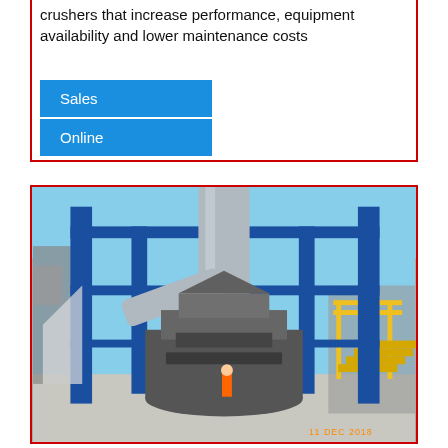crushers that increase performance, equipment availability and lower maintenance costs
Sales
Online
[Figure (photo): Industrial crusher/mill equipment on a blue steel structure platform, photographed outdoors. A large vertical mill/crusher in the center, surrounded by blue steel framework, staircases with yellow handrails, pipes, and a concrete floor. Timestamp visible at bottom right: 11 DEC 2018.]